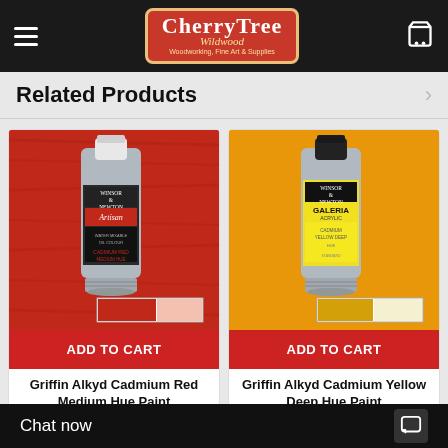CherryTree Wildwood — Woodworking, Fine Art & Supplies
Related Products
[Figure (photo): Winsor & Newton Artisan water mixable oil color tube (Cadmium Red Medium Hue) on red background with color swatch]
ADD TO CART
Griffin Alkyd Cadmium Red Medium Hue Paint
Griffin Manufacturing
$8.99
[Figure (photo): Winsor & Newton Galeria acrylic colour tube (Cadmium Yellow Deep Hue) on yellow background with color swatch]
ADD TO CART
Griffin Alkyd Cadmium Yellow Deep Hue Paint
Griffin Manufacturing
$8.99
Chat now